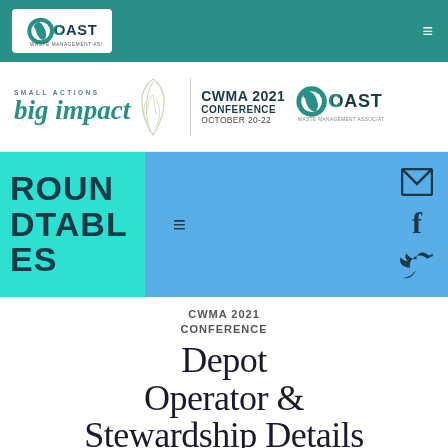[Figure (logo): COAST Waste Management Association logo in white box on teal navigation bar]
[Figure (logo): CWMA 2021 Conference banner: small actions big impact with leaf graphic, CWMA 2021 Conference October 20-22, COAST Waste Management Association logo]
ROUNDTABLES
CWMA 2021 CONFERENCE
Depot Operator & Stewardship Details